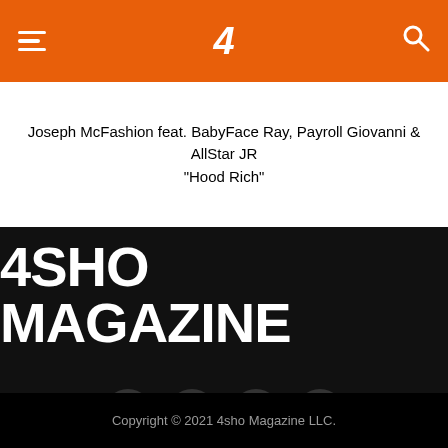4SHO MAGAZINE
Joseph McFashion feat. BabyFace Ray, Payroll Giovanni & AllStar JR
"Hood Rich"
4SHO MAGAZINE
[Figure (logo): Social media icons: Facebook, Twitter, Instagram, YouTube — white icons on dark circular backgrounds]
Copyright © 2021 4sho Magazine LLC.